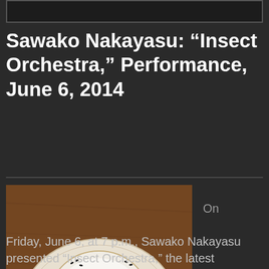[Figure (photo): Top strip image — partial dark photo, cropped at top of page]
Sawako Nakayasu: “Insect Orchestra,” Performance, June 6, 2014
[Figure (photo): Overhead photo of a white teacup and saucer on a wooden surface with insects (ants) crawling on and around it]
On
Friday, June 6, at 7 p.m., Sawako Nakayasu presented “Insect Orchestra,” the latest